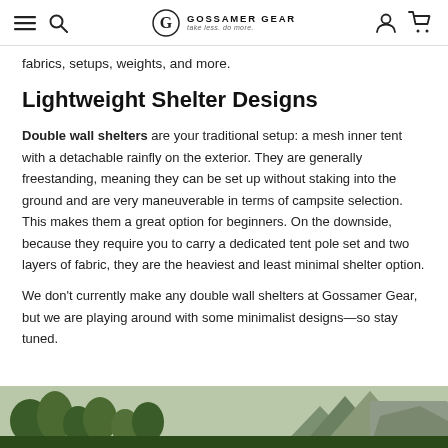Gossamer Gear — take less. do more.
fabrics, setups, weights, and more.
Lightweight Shelter Designs
Double wall shelters are your traditional setup: a mesh inner tent with a detachable rainfly on the exterior. They are generally freestanding, meaning they can be set up without staking into the ground and are very maneuverable in terms of campsite selection. This makes them a great option for beginners. On the downside, because they require you to carry a dedicated tent pole set and two layers of fabric, they are the heaviest and least minimal shelter option.
We don't currently make any double wall shelters at Gossamer Gear, but we are playing around with some minimalist designs—so stay tuned.
[Figure (photo): Outdoor landscape photo showing trees and mountainous terrain, partially visible at the bottom of the page]